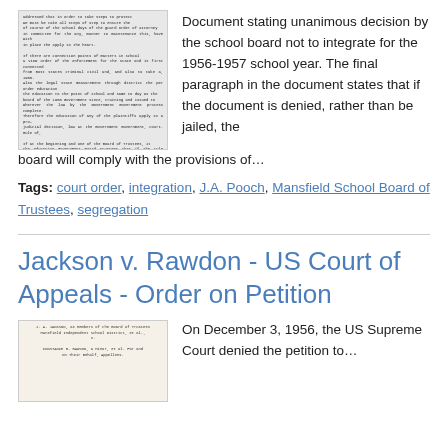[Figure (photo): Thumbnail image of a historical document with typewritten text, showing multiple paragraphs]
Document stating unanimous decision by the school board not to integrate for the 1956-1957 school year. The final paragraph in the document states that if the document is denied, rather than be jailed, the board will comply with the provisions of…
Tags: court order, integration, J.A. Pooch, Mansfield School Board of Trustees, segregation
Jackson v. Rawdon - US Court of Appeals - Order on Petition
[Figure (photo): Thumbnail image of a historical legal document with typewritten text]
On December 3, 1956, the US Supreme Court denied the petition to…